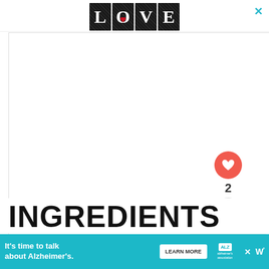[Figure (logo): LOVE logo with decorative patterned letters in black and white with red heart detail, with X close button in top right]
[Figure (photo): Large white/blank main content area placeholder]
[Figure (infographic): Right side UI: pink heart button, count 2, share button, and What's Next panel with food thumbnail showing Vegan Caramel...]
INGREDIENTS
[Figure (infographic): Bottom advertisement banner: teal background, text 'It's time to talk about Alzheimer's.', Learn More button, Alzheimer's Association logo, close X, and W degree logo]